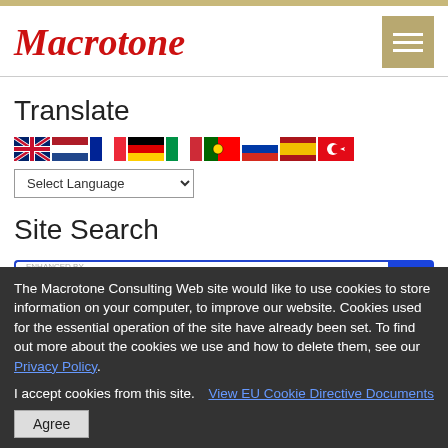Macrotone
Translate
[Figure (illustration): Row of country flag icons: UK, Netherlands, France, Germany, Italy, Portugal, Russia, Spain, Turkey]
Select Language
Site Search
[Figure (screenshot): Google custom search bar with blue border and search button, showing 'ENHANCED BY Google' label]
The Macrotone Consulting Web site would like to use cookies to store information on your computer, to improve our website. Cookies used for the essential operation of the site have already been set. To find out more about the cookies we use and how to delete them, see our Privacy Policy.
I accept cookies from this site.
View EU Cookie Directive Documents